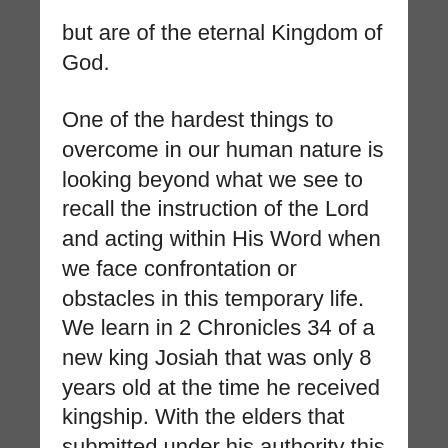but are of the eternal Kingdom of God.
One of the hardest things to overcome in our human nature is looking beyond what we see to recall the instruction of the Lord and acting within His Word when we face confrontation or obstacles in this temporary life. We learn in 2 Chronicles 34 of a new king Josiah that was only 8 years old at the time he received kingship. With the elders that submitted under his authority this displays the Lords instruction and obedience within their own lives. They could have been bitter because of his age or rebellious due to coveting someone else's position but instead they chose to serve as Gods Word instructs. On the other hand we learn another lesson in 1 Kings 12 with another youth that refused to listen for the Godly